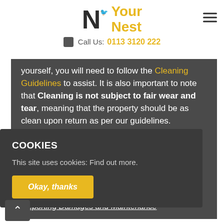[Figure (logo): Your Nest logo with stylized N and bird icon in dark/yellow colors]
Call Us: 0113 3120 222
yourself, you will need to follow the Cleaning Guidelines to assist. It is also important to note that Cleaning is not subject to fair wear and tear, meaning that the property should be as clean upon return as per our guidelines.
...rd. ...l also the ...ulbs
Reporting Damages and Maintenance
COOKIES
This site uses cookies: Find out more.
Okay, thanks